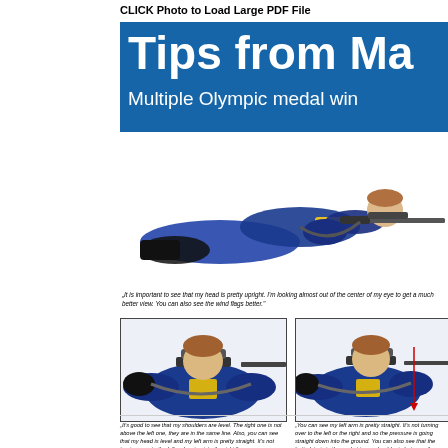CLICK Photo to Load Large PDF File
Tips from Ma
Multiple Olympic medal win
[Figure (photo): Shooter lying prone aiming a rifle, wearing blue and yellow competition jacket]
"It is important to see that my head is pretty upright. I'm looking almost out of the center of my eye to get a much better view. You can also see the wind flags better."
[Figure (photo): Close-up front view of shooter in prone position with rifle, showing level shoulders]
[Figure (photo): Side/front view of shooter in prone position with rifle showing left arm position and butt plate]
"It's good to see that my shoulders are level. The right one is not above the left one, they are in the same line. Also, you can see that my head is level and my left arm is pretty straight. It's not turning over to the left or leaning into the right."
"You can see my left arm is pretty straight. It's not turning over to the left or the right and so the pressure is going straight down into the ground. You can also see that the butt plate is in the pocket in my shoulder in between the collar bone and the shoulder bone."